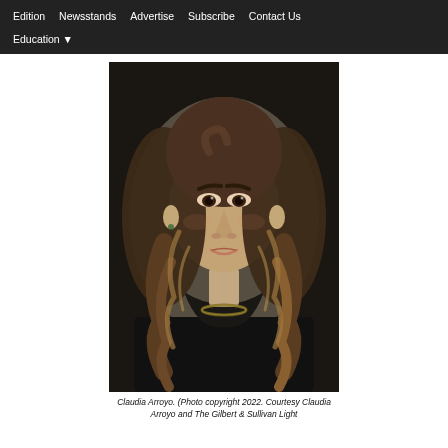Edition | Newsstands | Advertise | Subscribe | Contact Us | Education
[Figure (photo): Portrait photo of a young woman with long curly brown hair, wearing a black top and a gold/green necklace, against a dark background.]
Claudia Arroyo. (Photo copyright 2022. Courtesy Claudia Arroyo and The Gilbert & Sullivan Light